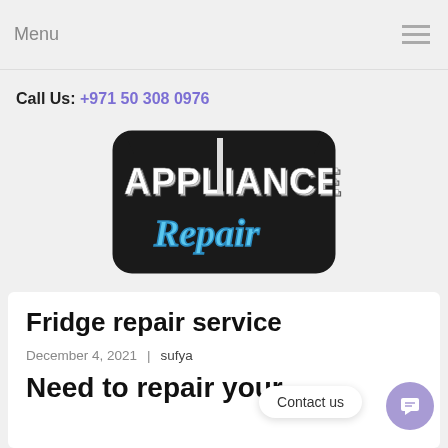Menu
Call Us: +971 50 308 0976
[Figure (logo): Appliance Repair logo in bold stylized text with black outline, 'APPLIANCE' in white block letters and 'Repair' in blue cursive script]
Fridge repair service
December 4, 2021  | sufya
Need to repair your
Contact us